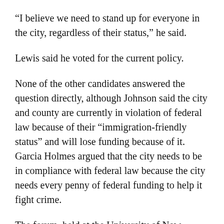“I believe we need to stand up for everyone in the city, regardless of their status,” he said.
Lewis said he voted for the current policy.
None of the other candidates answered the question directly, although Johnson said the city and county are currently in violation of federal law because of their “immigration-friendly status” and will lose funding because of it. Garcia Holmes argued that the city needs to be in compliance with federal law because the city needs every penny of federal funding to help it fight crime.
The forum, held at the University of New Mexico’s Continuing Education Center, was presented by Albuquerque area Realtors in cooperation with the